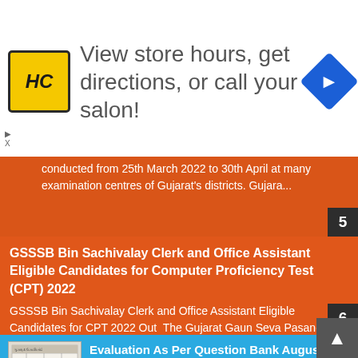[Figure (logo): HC logo in yellow box with navigation diamond icon - advertisement banner: View store hours, get directions, or call your salon!]
conducted from 25th March 2022 to 30th April at many examination centres of Gujarat's districts. Gujara...
GSSSB Bin Sachivalay Clerk and Office Assistant Eligible Candidates for Computer Proficiency Test (CPT) 2022
GSSSB Bin Sachivalay Clerk and Office Assistant Eligible Candidates for CPT 2022 Out  The Gujarat Gaun Seva Pasandgi Mandal has released the...
[Figure (table-as-image): Thumbnail image of a table/document related to Gujarat Secondary and Higher Secondary board evaluation timetable]
Evaluation As Per Question Bank August Month Std.9 to 12 Time Table/Syllabus Declared By Gujarat Secondary and Higher Secondary board
The Evaluation As Per Question Bank will be done For STD.9 to 12/Time Table/Syllabus Declared By Gujarat Secondary and Higher Secondary boar...